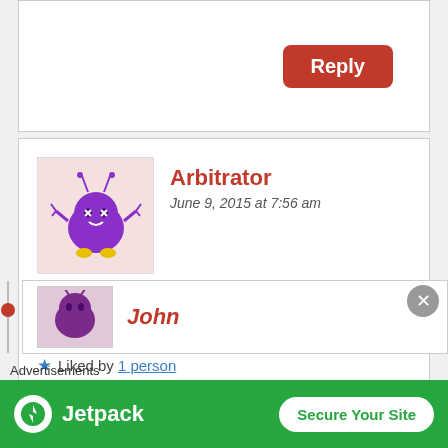[Figure (other): Reply button (red rounded rectangle) at top of page, partial comment block]
[Figure (illustration): Purple cartoon alien/creature avatar for user Arbitrator]
Arbitrator
June 9, 2015 at 7:56 am
DINKA will never leave Equatoria, If we just make press releases!
Liked by 1 person
[Figure (other): Reply button (red rounded rectangle)]
[Figure (illustration): Partial avatar for user John (purple creature)]
John
Advertisements
[Figure (other): Jetpack advertisement banner - green background with Jetpack logo and Secure Your Site button]